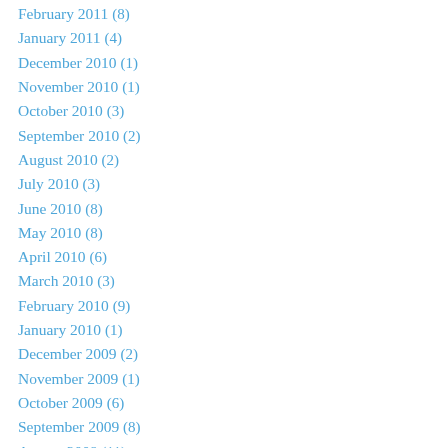February 2011 (8)
January 2011 (4)
December 2010 (1)
November 2010 (1)
October 2010 (3)
September 2010 (2)
August 2010 (2)
July 2010 (3)
June 2010 (8)
May 2010 (8)
April 2010 (6)
March 2010 (3)
February 2010 (9)
January 2010 (1)
December 2009 (2)
November 2009 (1)
October 2009 (6)
September 2009 (8)
August 2009 (11)
July 2009 (1)